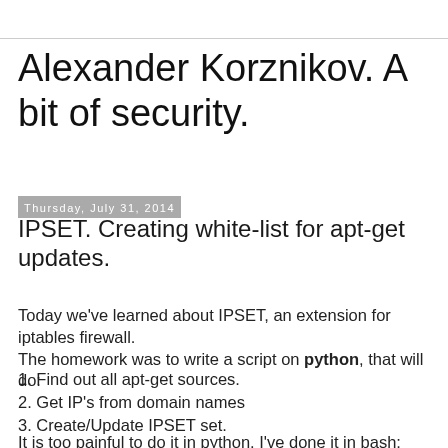Alexander Korznikov. A bit of security.
Thursday, July 31, 2014
IPSET. Creating white-list for apt-get updates.
Today we've learned about IPSET, an extension for iptables firewall.
The homework was to write a script on python, that will do:
1. Find out all apt-get sources.
2. Get IP's from domain names
3. Create/Update IPSET set.
It is too painful to do it in python. I've done it in bash:
#!/bin/bash